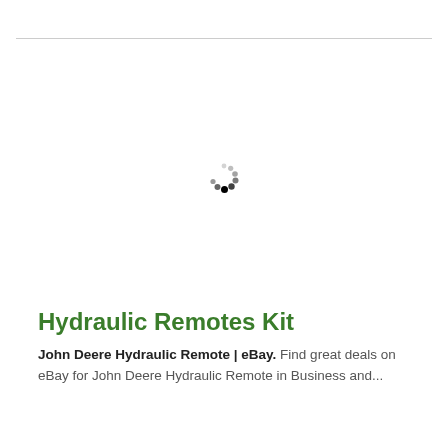[Figure (other): Loading spinner icon (circular dots pattern indicating content is loading)]
Hydraulic Remotes Kit
John Deere Hydraulic Remote | eBay. Find great deals on eBay for John Deere Hydraulic Remote in Business and...